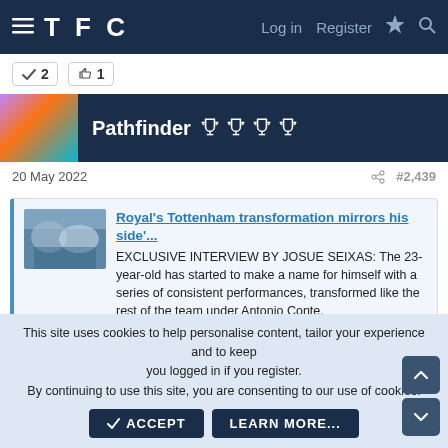TFC  Log in  Register
✓ 2  👍 1
Pathfinder 🏆🏆🏆🏆
20 May 2022  #2,439
Royal's Tottenham transformation mirrors his side'... EXCLUSIVE INTERVIEW BY JOSUE SEIXAS: The 23-year-old has started to make a name for himself with a series of consistent performances, transformed like the rest of the team under Antonio Conte. www.dailymail.co.uk
This site uses cookies to help personalise content, tailor your experience and to keep you logged in if you register. By continuing to use this site, you are consenting to our use of cookies.
✓ ACCEPT  LEARN MORE...